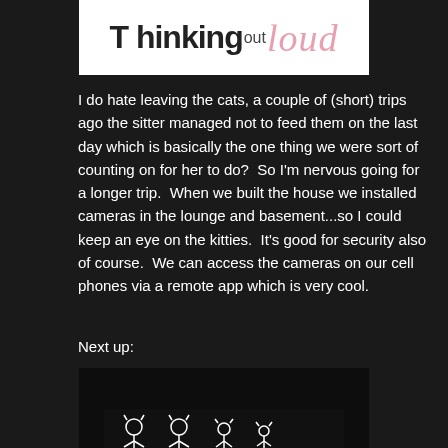[Figure (logo): Blog header logo showing 'Thinking out Loud' in mixed handwritten and script fonts on white background, black text for 'Thinking' and pink script for 'loud']
I do hate leaving the cats, a couple of (short) trips ago the sitter managed not to feed them on the last day which is basically the one thing we were sort of counting on for her to do?  So I'm nervous going for a longer trip.  When we built the house we installed cameras in the lounge and basement...so I could keep an eye on the kitties.  It's good for security also of course.  We can access the cameras on our cell phones via a remote app which is very cool.
Next up:
[Figure (photo): Dark photo of a car rear window with white cat family stick figure stickers on a dark background, partially visible at the bottom of the page]